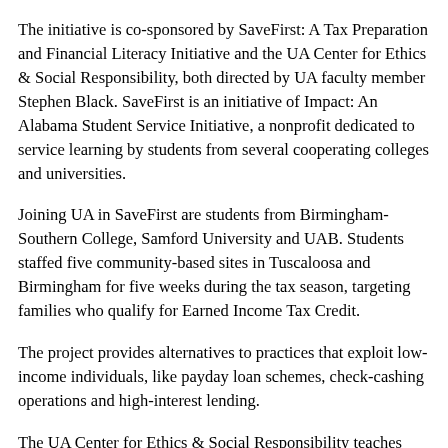The initiative is co-sponsored by SaveFirst: A Tax Preparation and Financial Literacy Initiative and the UA Center for Ethics & Social Responsibility, both directed by UA faculty member Stephen Black. SaveFirst is an initiative of Impact: An Alabama Student Service Initiative, a nonprofit dedicated to service learning by students from several cooperating colleges and universities.
Joining UA in SaveFirst are students from Birmingham-Southern College, Samford University and UAB. Students staffed five community-based sites in Tuscaloosa and Birmingham for five weeks during the tax season, targeting families who qualify for Earned Income Tax Credit.
The project provides alternatives to practices that exploit low-income individuals, like payday loan schemes, check-cashing operations and high-interest lending.
The UA Center for Ethics & Social Responsibility teaches students to take responsibility for the well-being of the larger community, especially through innovative, curriculum-